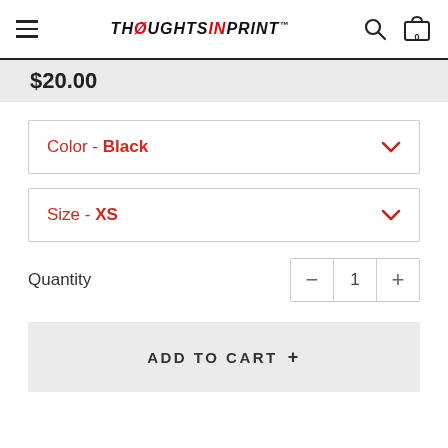THOUGHTS IN PRINT™
$20.00
Color - Black
Size - XS
Quantity 1
ADD TO CART +